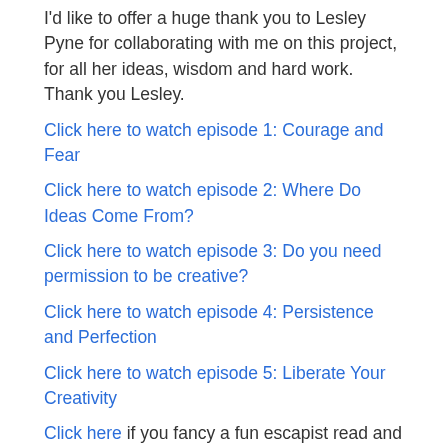I'd like to offer a huge thank you to Lesley Pyne for collaborating with me on this project, for all her ideas, wisdom and hard work. Thank you Lesley.
Click here to watch episode 1: Courage and Fear
Click here to watch episode 2: Where Do Ideas Come From?
Click here to watch episode 3: Do you need permission to be creative?
Click here to watch episode 4: Persistence and Perfection
Click here to watch episode 5: Liberate Your Creativity
Click here if you fancy a fun escapist read and